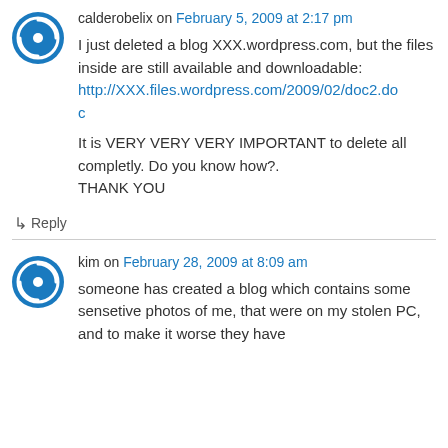calderobelix on February 5, 2009 at 2:17 pm
I just deleted a blog XXX.wordpress.com, but the files inside are still available and downloadable: http://XXX.files.wordpress.com/2009/02/doc2.doc
It is VERY VERY VERY IMPORTANT to delete all completly. Do you know how?.
THANK YOU
↳ Reply
kim on February 28, 2009 at 8:09 am
someone has created a blog which contains some sensetive photos of me, that were on my stolen PC, and to make it worse they have